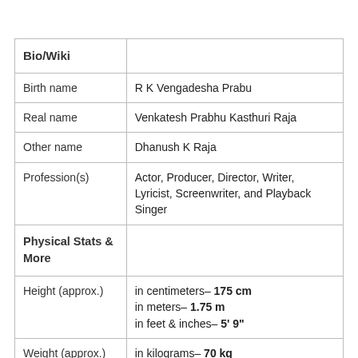| Bio/Wiki |  |
| --- | --- |
| Birth name | R K Vengadesha Prabu |
| Real name | Venkatesh Prabhu Kasthuri Raja |
| Other name | Dhanush K Raja |
| Profession(s) | Actor, Producer, Director, Writer, Lyricist, Screenwriter, and Playback Singer |
| Physical Stats & More |  |
| Height (approx.) | in centimeters– 175 cm
in meters– 1.75 m
in feet & inches– 5' 9" |
| Weight (approx.) | in kilograms– 70 kg
in pounds– 154 lbs |
| Body Measurements | – Chest: 38 inches
– Waist: 30 inches |